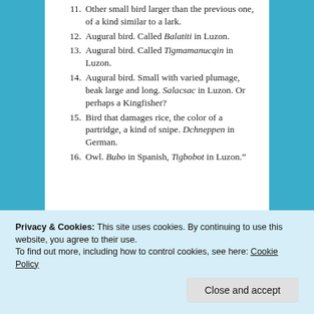11. Other small bird larger than the previous one, of a kind similar to a lark.
12. Augural bird. Called Balatiti in Luzon.
13. Augural bird. Called Tigmamanucqin in Luzon.
14. Augural bird. Small with varied plumage, beak large and long. Salacsac in Luzon. Or perhaps a Kingfisher?
15. Bird that damages rice, the color of a partridge, a kind of snipe. Dchneppen in German.
16. Owl. Bubo in Spanish, Tigbobot in Luzon."
[Figure (screenshot): Partial view of a book cover or webpage image showing stylized text 'stories.' in white on a blue-green gradient background, and a partial figure on a yellow-green background with an 'Aa' badge.]
Privacy & Cookies: This site uses cookies. By continuing to use this website, you agree to their use.
To find out more, including how to control cookies, see here: Cookie Policy
Close and accept